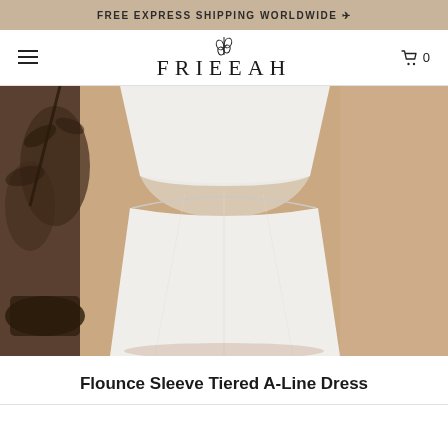FREE EXPRESS SHIPPING WORLDWIDE →
[Figure (logo): Frieeah brand logo with plant/wheat icon above the text FRIEEAH]
[Figure (photo): Close-up photo of a white tiered A-line dress with flounce sleeves, shown on a model against a warm beige/tan background]
Flounce Sleeve Tiered A-Line Dress